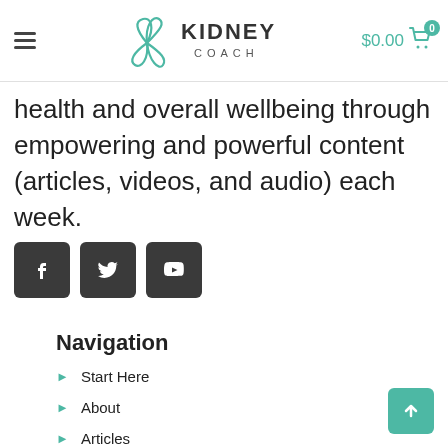Kidney Coach — $0.00 cart
health and overall wellbeing through empowering and powerful content (articles, videos, and audio) each week.
[Figure (infographic): Three dark grey social media icon buttons: Facebook (f), Twitter (bird), YouTube (play triangle)]
Navigation
Start Here
About
Articles